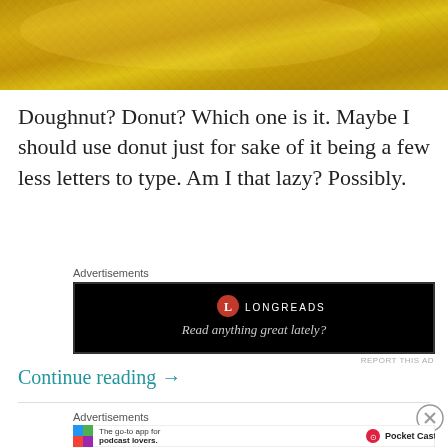[Figure (photo): Close-up photo of golden/yellow fabric or textile with a woven texture]
Doughnut? Donut? Which one is it. Maybe I should use donut just for sake of it being a few less letters to type. Am I that lazy? Possibly.
Advertisements
[Figure (screenshot): Longreads advertisement on black background: circular red logo with L, LONGREADS text, tagline 'Read anything great lately?']
REPORT THIS AD
Continue reading →
Advertisements
[Figure (screenshot): Pocket Casts advertisement: 'The go-to app for podcast lovers.' with Pocket Casts logo]
REPORT THIS AD